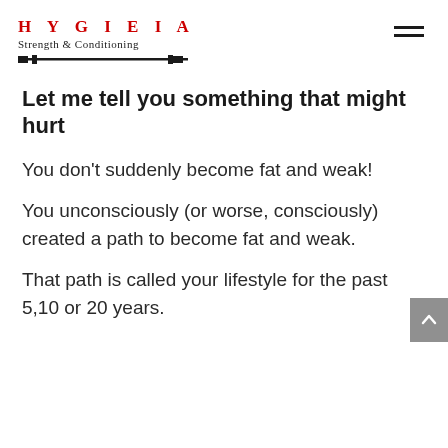HYGIEIA Strength & Conditioning
Let me tell you something that might hurt
You don't suddenly become fat and weak!
You unconsciously (or worse, consciously) created a path to become fat and weak.
That path is called your lifestyle for the past 5,10 or 20 years.